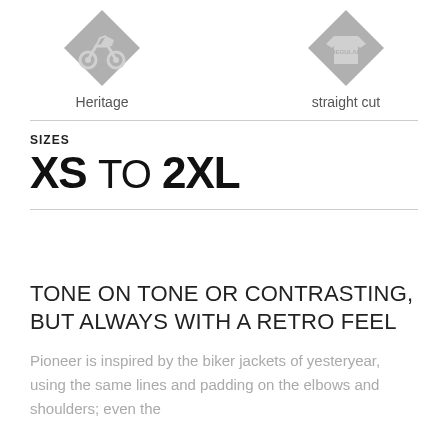[Figure (illustration): Diamond-shaped heritage icon with a motorcycle/rider motif, labeled 'Heritage']
[Figure (illustration): Diamond-shaped regular fit icon with 'REGULAR' text, labeled 'straight cut']
SIZES
XS TO 2XL
TONE ON TONE OR CONTRASTING, BUT ALWAYS WITH A RETRO FEEL
Pioneer is inspired by the biker jackets of yesteryear, using the same lines and padding on the elbows and shoulders; even the